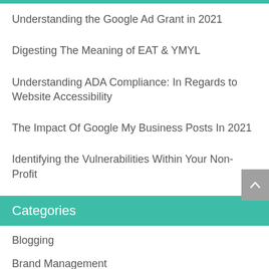Understanding the Google Ad Grant in 2021
Digesting The Meaning of EAT & YMYL
Understanding ADA Compliance: In Regards to Website Accessibility
The Impact Of Google My Business Posts In 2021
Identifying the Vulnerabilities Within Your Non-Profit
Categories
Blogging
Brand Management